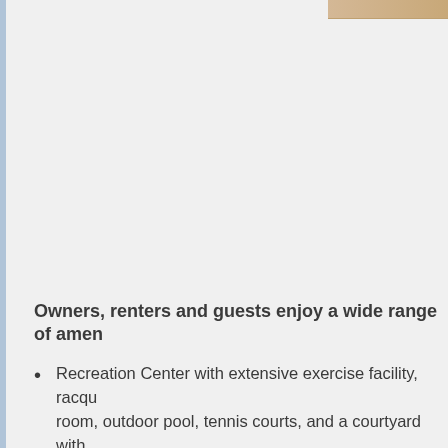[Figure (photo): Partial image visible at top right corner of page, appears to be a building or resort exterior with brown/tan tones]
Owners, renters and guests enjoy a wide range of amen
Recreation Center with extensive exercise facility, racqu room, outdoor pool, tennis courts, and a courtyard with
Three pools: indoor pool (open year-round), outdoor cl seasonally)
Two tennis courts
One racquetball court